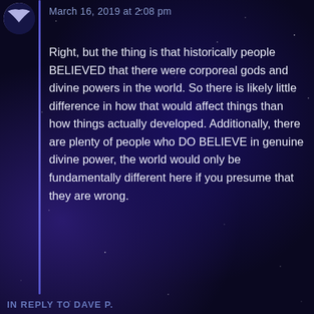March 16, 2019 at 2:08 pm
Right, but the thing is that historically people BELIEVED that there were corporeal gods and divine powers in the world. So there is likely little difference in how that would affect things than how things actually developed. Additionally, there are plenty of people who DO BELIEVE in genuine divine power, the world would only be fundamentally different here if you presume that they are wrong.
Reply
IN REPLY TO DAVE P.